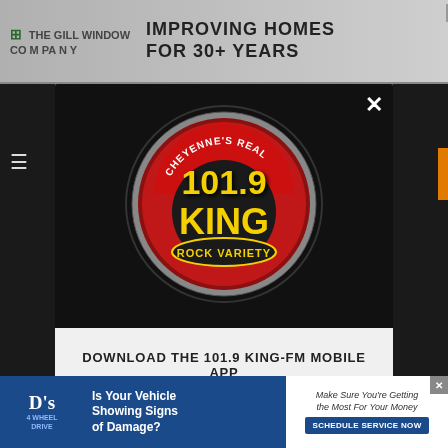[Figure (screenshot): Background page with navigation and content partially visible behind modal overlay]
[Figure (logo): 101.9 KING FM radio station logo - circular badge with yellow text on red/black background, text reads: CHEYENNE'S REAL 101.9 KING ROCK VARIETY]
DOWNLOAD THE 101.9 KING-FM MOBILE APP
GET OUR FREE MOBILE APP
Also listen on: amazon alexa
[Figure (screenshot): Bottom advertisement banner: D's 4 Wheel Drive - Is Your Vehicle Showing Signs of Damage? Make Sure You're Getting the Most For Your Money. SCHEDULE SERVICE NOW]